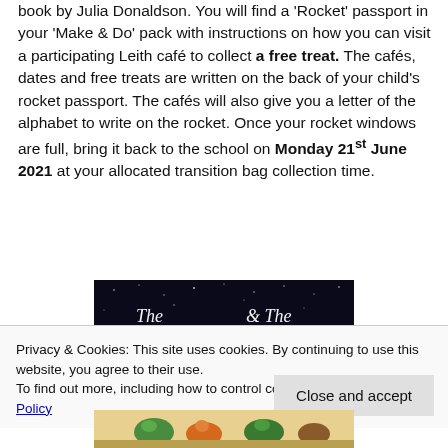book by Julia Donaldson. You will find a 'Rocket' passport in your 'Make & Do' pack with instructions on how you can visit a participating Leith café to collect a free treat. The cafés, dates and free treats are written on the back of your child's rocket passport. The cafés will also give you a letter of the alphabet to write on the rocket. Once your rocket windows are full, bring it back to the school on Monday 21st June 2021 at your allocated transition bag collection time.
[Figure (photo): Dark background book cover image showing text 'The ... & The ...' in stylized white script lettering on a starry night sky background.]
Privacy & Cookies: This site uses cookies. By continuing to use this website, you agree to their use.
To find out more, including how to control cookies, see here: Cookie Policy
[Figure (photo): Bottom portion of a colorful illustrated book cover showing cartoon-style animal characters.]